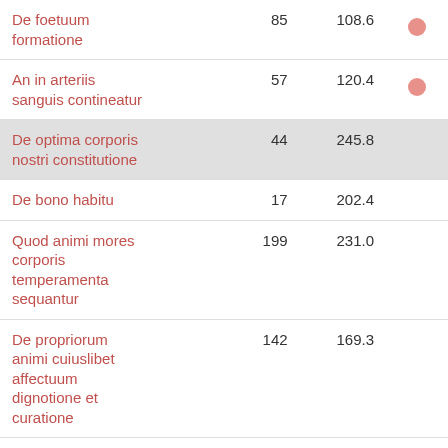| Name | Col1 | Col2 |  |
| --- | --- | --- | --- |
| De foetuum formatione | 85 | 108.6 | ● |
| An in arteriis sanguis contineatur | 57 | 120.4 | ● |
| De optima corporis nostri constitutione | 44 | 245.8 |  |
| De bono habitu | 17 | 202.4 |  |
| Quod animi mores corporis temperamenta sequantur | 199 | 231.0 |  |
| De propriorum animi cuiuslibet affectuum dignotione et curatione | 142 | 169.3 |  |